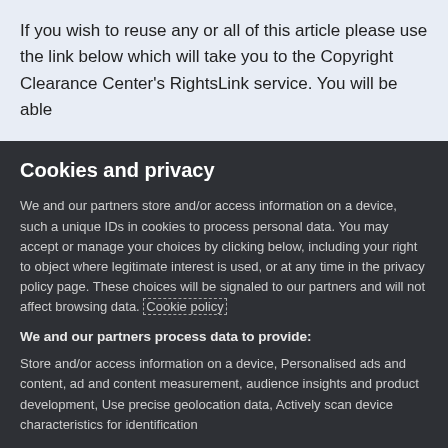If you wish to reuse any or all of this article please use the link below which will take you to the Copyright Clearance Center's RightsLink service. You will be able
Cookies and privacy
We and our partners store and/or access information on a device, such a unique IDs in cookies to process personal data. You may accept or manage your choices by clicking below, including your right to object where legitimate interest is used, or at any time in the privacy policy page. These choices will be signaled to our partners and will not affect browsing data. Cookie policy
We and our partners process data to provide:
Store and/or access information on a device, Personalised ads and content, ad and content measurement, audience insights and product development, Use precise geolocation data, Actively scan device characteristics for identification
List of Partners (vendors)
I Accept